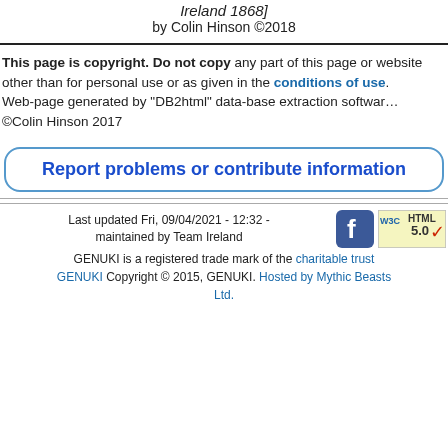Ireland 1868] by Colin Hinson ©2018
This page is copyright. Do not copy any part of this page or website other than for personal use or as given in the conditions of use. Web-page generated by "DB2html" data-base extraction software ©Colin Hinson 2017
Report problems or contribute information
Last updated Fri, 09/04/2021 - 12:32 - maintained by Team Ireland GENUKI is a registered trade mark of the charitable trust GENUKI Copyright © 2015, GENUKI. Hosted by Mythic Beasts Ltd.